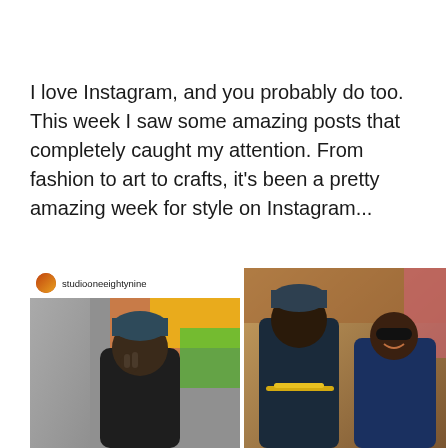I love Instagram, and you probably do too. This week I saw some amazing posts that completely caught my attention. From fashion to art to crafts, it's been a pretty amazing week for style on Instagram...
[Figure (photo): Instagram post screenshot from user 'studiooneeightynine' showing a young man wearing a dark beanie and dark clothing, posing with his hand near his face, with colorful artwork in the background]
[Figure (photo): Photo of a young man in dark blue outfit with gold chain and dark beanie posing with a smiling woman wearing sunglasses and blue outfit, with a busy background]